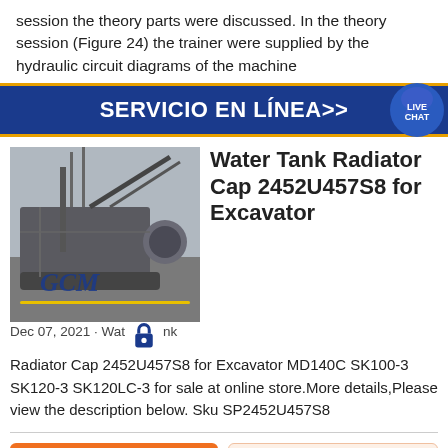session the theory parts were discussed. In the theory session (Figure 24) the trainer were supplied by the hydraulic circuit diagrams of the machine
[Figure (infographic): Dark blue banner reading SERVICIO EN LÍNEA>> with a Live Chat bubble icon on the right]
[Figure (photo): Industrial excavator or heavy machinery photo with GCM watermark and yellow underline]
Water Tank Radiator Cap 2452U457S8 for Excavator
Dec 07, 2021 · Water Tank Radiator Cap 2452U457S8 for Excavator MD140C SK100-3 SK120-3 SK120LC-3 for sale at online store.More details,Please view the description below. Sku SP2452U457S8